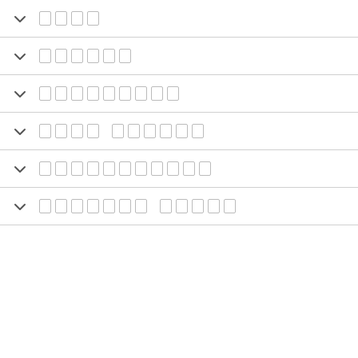[redacted menu item 1] - 4 characters
[redacted menu item 2] - 6 characters
[redacted menu item 3] - 9 characters
[redacted menu item 4] - two words, 4+6 characters
[redacted menu item 5] - 11 characters
[redacted menu item 6] - two words, 7+5 characters